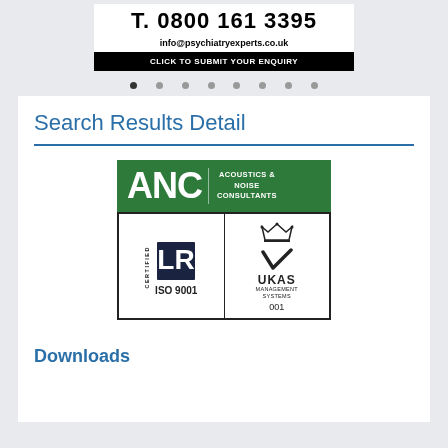[Figure (screenshot): Top banner with phone number T. 0800 161 3395, email info@psychiatryexperts.co.uk, and black button CLICK TO SUBMIT YOUR ENQUIRY]
[Figure (other): Navigation dots row, 8 dots]
Search Results Detail
[Figure (logo): ANC Acoustics & Noise Consultants green logo with LR Certified ISO 9001 and UKAS Management Systems 001 certification badges]
Downloads